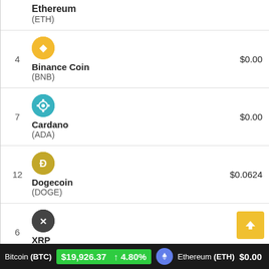| Rank | Coin | Price |
| --- | --- | --- |
|  | Ethereum (ETH) |  |
| 4 | Binance Coin (BNB) | $0.00 |
| 7 | Cardano (ADA) | $0.00 |
| 12 | Dogecoin (DOGE) | $0.0624 |
| 6 | XRP (XRP) | $0.00 |
| 25 | Bitcoin Cash (BCH) | $0.00 |
Bitcoin (BTC) $19,926.37 ↑ 4.80%   Ethereum (ETH) $0.00